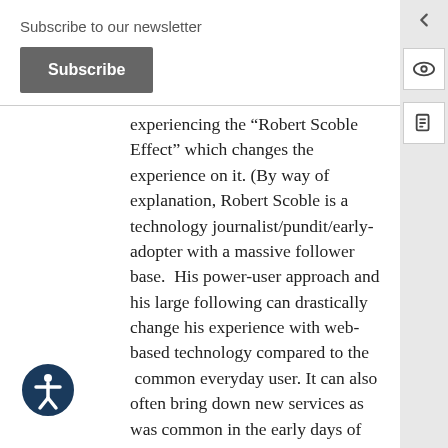Subscribe to our newsletter
Subscribe
experiencing the “Robert Scoble Effect” which changes the experience on it. (By way of explanation, Robert Scoble is a technology journalist/pundit/early-adopter with a massive follower base.  His power-user approach and his large following can drastically change his experience with web-based technology compared to the  common everyday user. It can also often bring down new services as was common in the early days of the social media movement.)
Typically with the average poem or rap